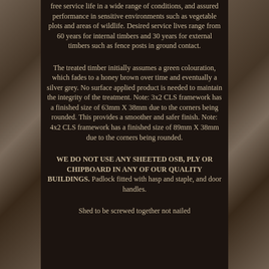free service life in a wide range of conditions, and assured performance in sensitive environments such as vegetable plots and areas of wildlife. Desired service lives range from 60 years for internal timbers and 30 years for external timbers such as fence posts in ground contact.
The treated timber initially assumes a green colouration, which fades to a honey brown over time and eventually a silver grey. No surface applied product is needed to maintain the integrity of the treatment. Note: 3x2 CLS framework has a finished size of 63mm X 38mm due to the corners being rounded. This provides a smoother and safer finish. Note: 4x2 CLS framework has a finished size of 89mm X 38mm due to the corners being rounded.
WE DO NOT USE ANY SHEETED OSB, PLY OR CHIPBOARD IN ANY OF OUR QUALITY BUILDINGS. Padlock fitted with hasp and staple, and door handles.
Shed to be screwed together not nailed